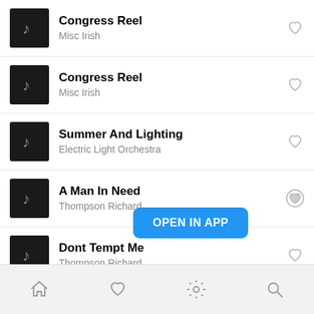Congress Reel — Misc Irish
Congress Reel — Misc Irish
Summer And Lighting — Electric Light Orchestra
A Man In Need — Thompson Richard
Dont Tempt Me — Thompson Richard
Calvary C... — Thompson Richard
[Figure (screenshot): OPEN IN APP blue button overlay]
Home | Favorites | Settings | Search